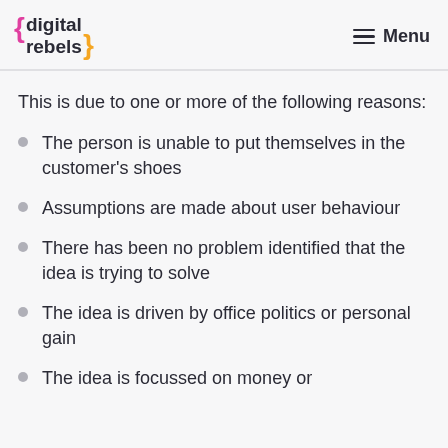{digital rebels} Menu
This is due to one or more of the following reasons:
The person is unable to put themselves in the customer's shoes
Assumptions are made about user behaviour
There has been no problem identified that the idea is trying to solve
The idea is driven by office politics or personal gain
The idea is focussed on money or